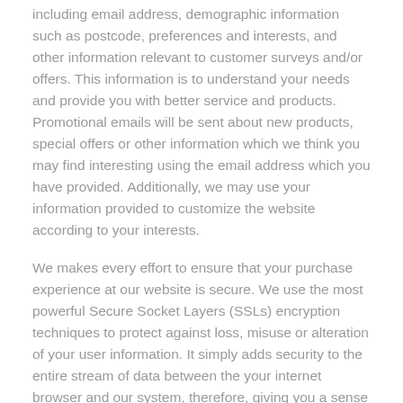including email address, demographic information such as postcode, preferences and interests, and other information relevant to customer surveys and/or offers. This information is to understand your needs and provide you with better service and products. Promotional emails will be sent about new products, special offers or other information which we think you may find interesting using the email address which you have provided. Additionally, we may use your information provided to customize the website according to your interests.
We makes every effort to ensure that your purchase experience at our website is secure. We use the most powerful Secure Socket Layers (SSLs) encryption techniques to protect against loss, misuse or alteration of your user information. It simply adds security to the entire stream of data between the your internet browser and our system, therefore, giving you a sense of confidence in